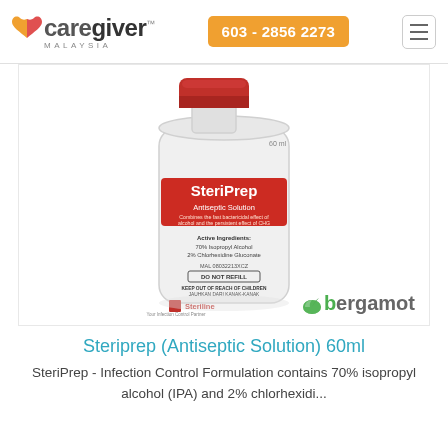caregiver MALAYSIA | 603 - 2856 2273
[Figure (photo): White bottle of SteriPrep Antiseptic Solution 60ml with red cap and red label. Label reads: SteriPrep Antiseptic Solution, Combines the fast bactericidal effect of alcohol and the persistent effect of CHG, Active Ingredients: 70% Isopropyl Alcohol, 2% Chlorhexidine Gluconate, MAL 08032213XCZ, DO NOT REFILL, KEEP OUT OF REACH OF CHILDREN / JAUHKAN DARI KANAK-KANAK, Steriline - Your Infection Control Partner. Bergamot logo in bottom right.]
Steriprep (Antiseptic Solution) 60ml
SteriPrep - Infection Control Formulation contains 70% isopropyl alcohol (IPA) and 2% chlorhexidi...